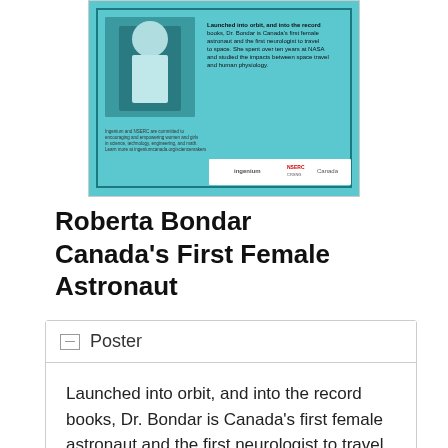[Figure (illustration): A cropped poster with a cyan/teal background showing an astronaut photo and text about Dr. Roberta Bondar, Canada's first female astronaut. Logos of Ingenium and NSERC appear at the bottom.]
Roberta Bondar Canada's First Female Astronaut
Poster
Launched into orbit, and into the record books, Dr. Bondar is Canada's first female astronaut and the first neurologist to travel to space. She spent over ten years at NASA and studied the impacts between space travel and human physiology.